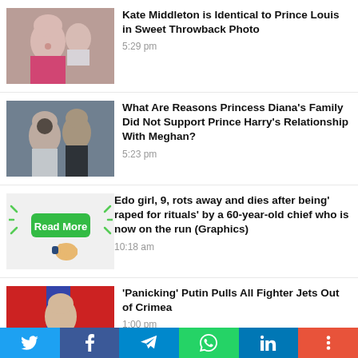[Figure (photo): Kate Middleton with Prince Louis - thumbnail]
Kate Middleton is Identical to Prince Louis in Sweet Throwback Photo
5:29 pm
[Figure (photo): Meghan and Prince Harry sitting together - thumbnail]
What Are Reasons Princess Diana’s Family Did Not Support Prince Harry's Relationship With Meghan?
5:23 pm
[Figure (illustration): Read More button with cursor graphic]
Edo girl, 9, rots away and dies after being' raped for rituals' by a 60-year-old chief who is now on the run (Graphics)
10:18 am
[Figure (photo): Putin at meeting - thumbnail]
'Panicking' Putin Pulls All Fighter Jets Out of Crimea
1:00 pm